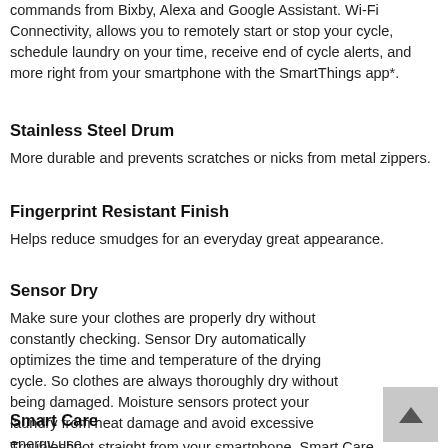commands from Bixby, Alexa and Google Assistant. Wi-Fi Connectivity, allows you to remotely start or stop your cycle, schedule laundry on your time, receive end of cycle alerts, and more right from your smartphone with the SmartThings app*.
Stainless Steel Drum
More durable and prevents scratches or nicks from metal zippers.
Fingerprint Resistant Finish
Helps reduce smudges for an everyday great appearance.
Sensor Dry
Make sure your clothes are properly dry without constantly checking. Sensor Dry automatically optimizes the time and temperature of the drying cycle. So clothes are always thoroughly dry without being damaged. Moisture sensors protect your laundry from heat damage and avoid excessive energy use.
Smart Care
Troubleshoot straight from your smartphone. Smart Care